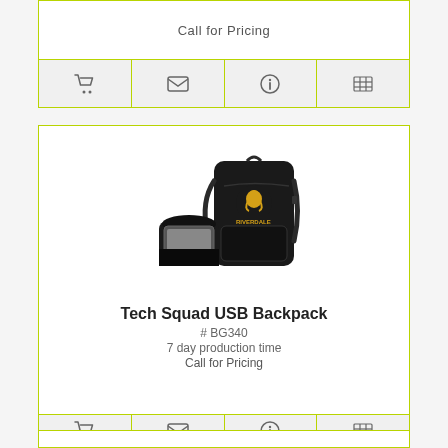Call for Pricing
[Figure (illustration): Four icon buttons: shopping cart, email envelope, info circle, list/table icon]
[Figure (photo): Tech Squad USB Backpack product image showing a black backpack with Riverdale branding and an open accessory pouch]
Tech Squad USB Backpack
# BG340
7 day production time
Call for Pricing
[Figure (illustration): Four icon buttons: shopping cart, email envelope, info circle, list/table icon]
[Figure (illustration): Bottom card border partial view]